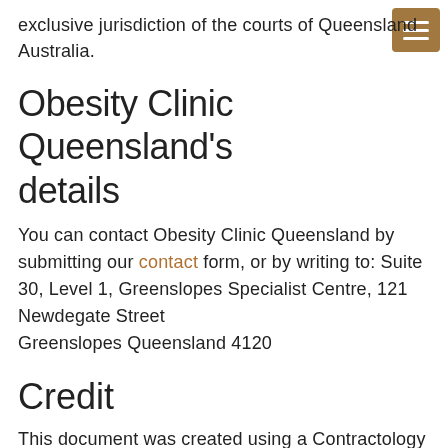exclusive jurisdiction of the courts of Queensland Australia.
Obesity Clinic Queensland's details
You can contact Obesity Clinic Queensland by submitting our contact form, or by writing to: Suite 30, Level 1, Greenslopes Specialist Centre, 121 Newdegate Street Greenslopes Queensland 4120
Credit
This document was created using a Contractology template available at http://www.freenetlaw.com